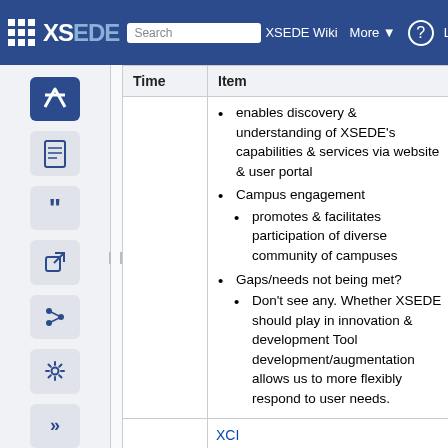XSEDE Wiki — Search XSEDE Wiki — More — Log in
| Time | Item | Lead |
| --- | --- | --- |
|  | enables discovery & understanding of XSEDE's capabilities & services via website & user portal
Campus engagement
  promotes & facilitates participation of diverse community of campuses
Gaps/needs not being met?
  Don't see any. Whether XSEDE should play in innovation & development Tool development/augmentation allows us to more flexibly respond to user needs. |  |
|  | XCI
Advance & sustain e- |  |
enables discovery & understanding of XSEDE's capabilities & services via website & user portal
Campus engagement
promotes & facilitates participation of diverse community of campuses
Gaps/needs not being met?
Don't see any. Whether XSEDE should play in innovation & development Tool development/augmentation allows us to more flexibly respond to user needs.
XCI
Advance & sustain e-